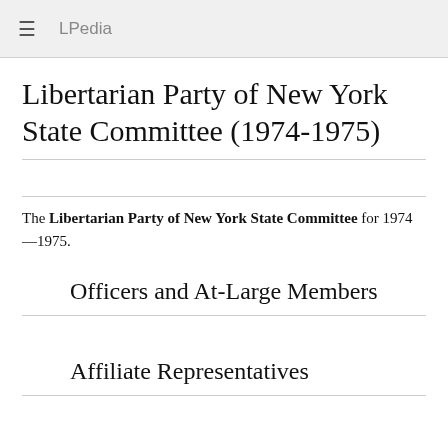LPedia
Libertarian Party of New York State Committee (1974-1975)
The Libertarian Party of New York State Committee for 1974—1975.
Officers and At-Large Members
Affiliate Representatives